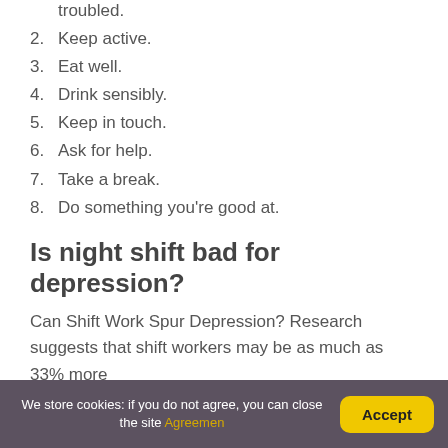troubled.
2. Keep active.
3. Eat well.
4. Drink sensibly.
5. Keep in touch.
6. Ask for help.
7. Take a break.
8. Do something you're good at.
Is night shift bad for depression?
Can Shift Work Spur Depression? Research suggests that shift workers may be as much as 33% more
We store cookies: if you do not agree, you can close the site Agreement